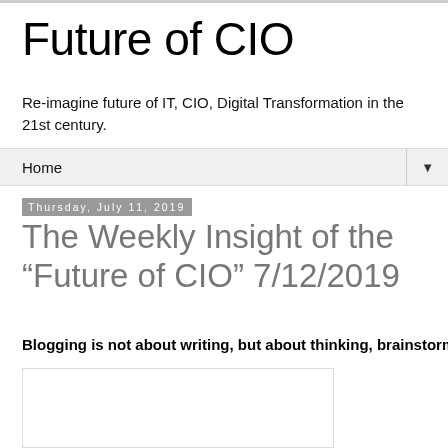Future of CIO
Re-imagine future of IT, CIO, Digital Transformation in the 21st century.
Home ▼
Thursday, July 11, 2019
The Weekly Insight of the “Future of CIO” 7/12/2019
Blogging is not about writing, but about thinking, brainstorming
[Figure (other): Placeholder image box at bottom of page]